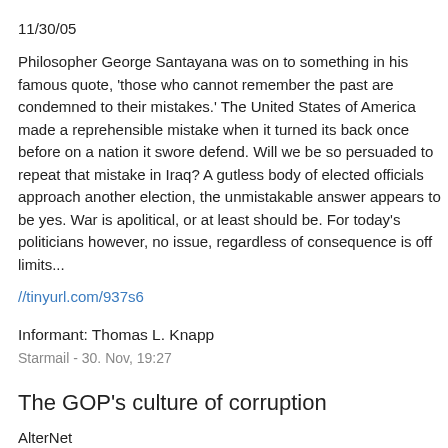11/30/05
Philosopher George Santayana was on to something in his famous quote, 'those who cannot remember the past are condemned to their mistakes.' The United States of America made a reprehensible mistake when it turned its back once before on a nation it swore to defend. Will we be so persuaded to repeat that mistake in Iraq? A gutless body of elected officials approach another election, the unmistakable answer appears to be yes. War is apolitical, or at least should be. For today's politicians however, no issue, regardless of consequence is off limits...
//tinyurl.com/937s6
Informant: Thomas L. Knapp
Starmail - 30. Nov, 19:27
The GOP's culture of corruption
AlterNet
by Stephen Pizzo
11/30/05
Only now is the general public starting to learn just how corruption swept through the GOP ranks after the party's rise to majority status in the 1990s. But it didn't happen all at once. And it didn't begin...